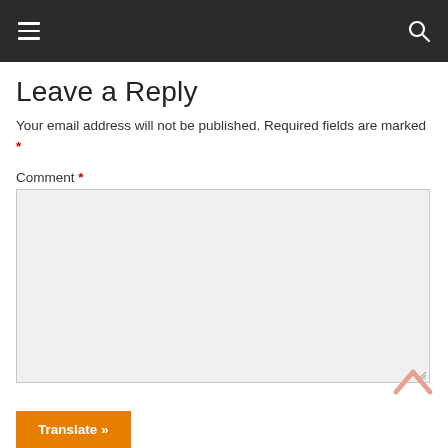Navigation bar with hamburger menu and search icon
Leave a Reply
Your email address will not be published. Required fields are marked *
Comment *
[Figure (screenshot): Comment text area input box, empty, with light gray background and resize handle at bottom-right]
[Figure (other): Back to top arrow chevron icon, light pink/salmon color]
Translate »